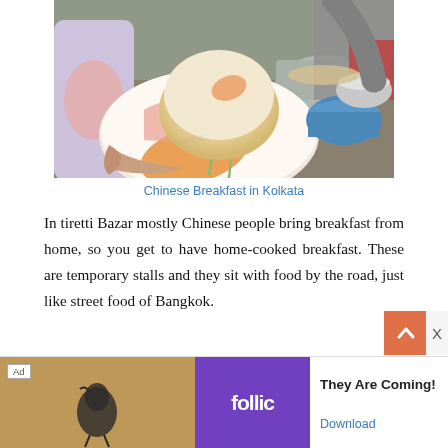[Figure (photo): A hand holding a decorative plate with a white steamed bun (baozi) on it, with people and food containers visible in the background at a street market.]
Chinese Breakfast in Kolkata
In tiretti Bazar mostly Chinese people bring breakfast from home, so you get to have home-cooked breakfast. These are temporary stalls and they sit with food by the road, just like street food of Bangkok.
[Figure (other): Advertisement banner for Follic app: 'They Are Coming!' with Download link]